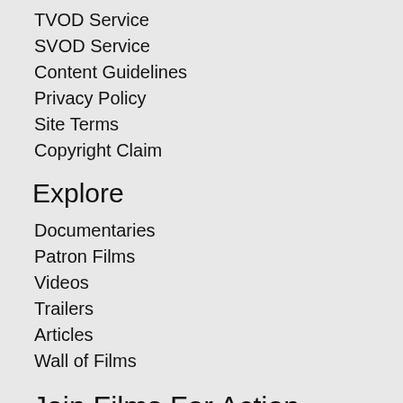TVOD Service
SVOD Service
Content Guidelines
Privacy Policy
Site Terms
Copyright Claim
Explore
Documentaries
Patron Films
Videos
Trailers
Articles
Wall of Films
Join Films For Action
Create an account to start adding content
[Figure (other): Social media icon buttons: Facebook, Twitter, YouTube, Pinterest, Email, Reddit, WhatsApp]